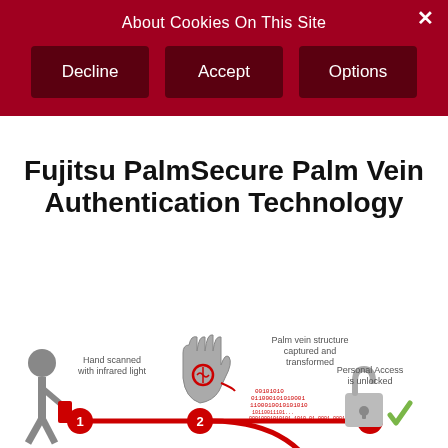About Cookies On This Site
Decline
Accept
Options
Fujitsu PalmSecure Palm Vein Authentication Technology
[Figure (infographic): Palm vein authentication workflow infographic showing: (1) person scanning hand with infrared light, (2) palm with vein structure captured and transformed, binary data stream, (3) database server, (4) ID card, (5) lock icon unlocked with checkmark — Personal Access is unlocked. Steps connected by red arrows with numbered circles.]